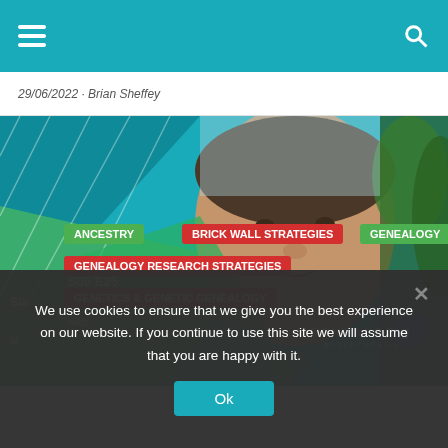Navigation bar with hamburger menu and search icon
29/06/2022 · Brian Sheffey
[Figure (photo): Thumbnail image for podcast episode S05 E25 featuring a man's face with trees in background, overlaid with teal and green triangular graphic elements and the Genealogy Adventures Live logo. Tags shown: ANCESTRY, BRICK WALL STRATEGIES, GENEALOGY, GENEALOGY RESEARCH STRATEGIES, GENETICS & GENETIC GENEALOGY. Episode text: S05 E25: Slaying Genealogy Brick Walls with... at...]
We use cookies to ensure that we give you the best experience on our website. If you continue to use this site we will assume that you are happy with it.
Ok